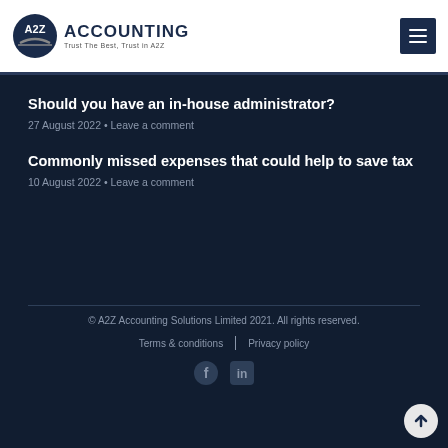[Figure (logo): A2Z Accounting logo with circular emblem and tagline 'Trust The Best, Trust in A2Z']
Should you have an in-house administrator?
27 August 2022 • Leave a comment
Commonly missed expenses that could help to save tax
10 August 2022 • Leave a comment
© A2Z Accounting Solutions Limited 2021. All rights reserved. | Terms & conditions | Privacy policy